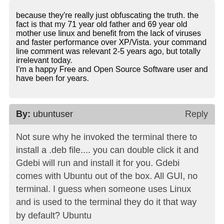because they're really just obfuscating the truth. the fact is that my 71 year old father and 69 year old mother use linux and benefit from the lack of viruses and faster performance over XP/Vista. your command line comment was relevant 2-5 years ago, but totally irrelevant today. I'm a happy Free and Open Source Software user and have been for years.
By: ubuntuser   Reply
Not sure why he invoked the terminal there to install a .deb file.... you can double click it and Gdebi will run and install it for you. Gdebi comes with Ubuntu out of the box. All GUI, no terminal. I guess when someone uses Linux and is used to the terminal they do it that way by default? Ubuntu
[Figure (infographic): Orange advertisement banner reading 'Help send medical aid to Ukraine >>' with Direct Relief logo on the right]